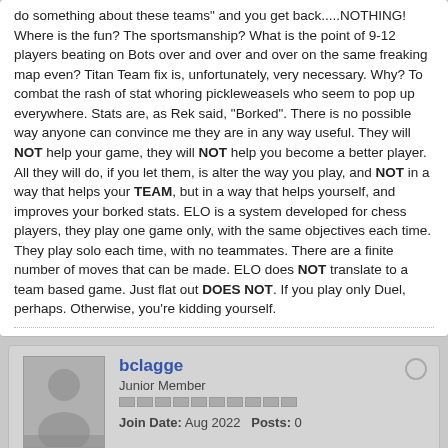do something about these teams" and you get back.....NOTHING! Where is the fun? The sportsmanship? What is the point of 9-12 players beating on Bots over and over and over on the same freaking map even? Titan Team fix is, unfortunately, very necessary. Why? To combat the rash of stat whoring pickleweasels who seem to pop up everywhere. Stats are, as Rek said, "Borked". There is no possible way anyone can convince me they are in any way useful. They will NOT help your game, they will NOT help you become a better player. All they will do, if you let them, is alter the way you play, and NOT in a way that helps your TEAM, but in a way that helps yourself, and improves your borked stats. ELO is a system developed for chess players, they play one game only, with the same objectives each time. They play solo each time, with no teammates. There are a finite number of moves that can be made. ELO does NOT translate to a team based game. Just flat out DOES NOT. If you play only Duel, perhaps. Otherwise, you're kidding yourself.
bclagge
Junior Member
Join Date: Aug 2022   Posts: 0
12-28-2008, 07:49 PM
#26
Originally posted by The Demon Slick